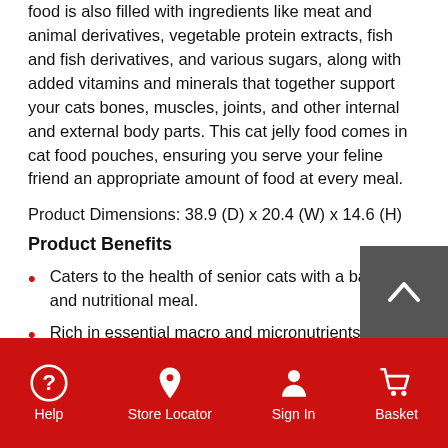food is also filled with ingredients like meat and animal derivatives, vegetable protein extracts, fish and fish derivatives, and various sugars, along with added vitamins and minerals that together support your cats bones, muscles, joints, and other internal and external body parts. This cat jelly food comes in cat food pouches, ensuring you serve your feline friend an appropriate amount of food at every meal.
Product Dimensions: 38.9 (D) x 20.4 (W) x 14.6 (H)
Product Benefits
Caters to the health of senior cats with a balanced and nutritional meal.
Rich in essential macro and micronutrients, a with added minerals.
Help | Store Locator | Sign In | Basket